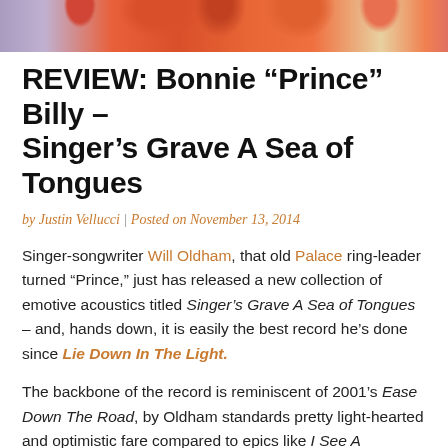[Figure (photo): Colorful illustration or photo strip at the top showing red/orange tulip-like flowers against a purple/lavender background]
REVIEW: Bonnie “Prince” Billy – Singer’s Grave A Sea of Tongues
by Justin Vellucci | Posted on November 13, 2014
Singer-songwriter Will Oldham, that old Palace ring-leader turned “Prince,” just has released a new collection of emotive acoustics titled Singer’s Grave A Sea of Tongues – and, hands down, it is easily the best record he’s done since Lie Down In The Light.
The backbone of the record is reminiscent of 2001’s Ease Down The Road, by Oldham standards pretty light-hearted and optimistic fare compared to epics like I See A Darkness or Master And Everyone, but there are troubled and shaken moments on the new album, for sure, and it’s there where Oldham and his cohorts